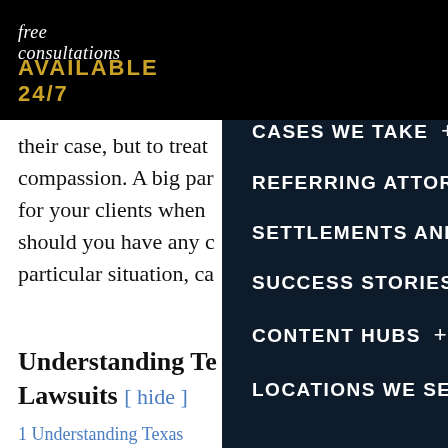free consultations
AVAILABLE 24/7
their case, but to treat compassion. A big part for your clients when should you have any particular situation, ca
Understanding Te Lawsuits [ hide ]
1 Understanding Texas Terminology
2 What Makes a Death
3 Who Can File a Wro
4 What Exactly Is a W
HOME
MEET THE TEAM +
CASES WE TAKE +
REFERRING ATTORNEYS
SETTLEMENTS AND VERDIC
SUCCESS STORIES
CONTENT HUBS +
LOCATIONS WE SERVE +